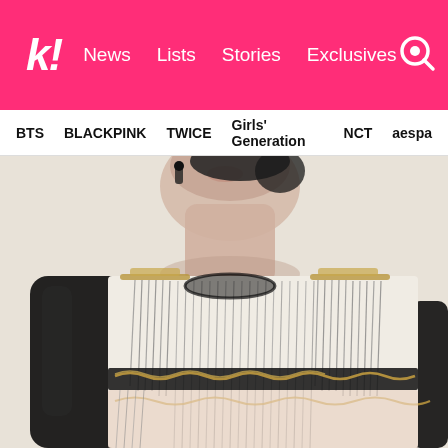k! News Lists Stories Exclusives
BTS BLACKPINK TWICE Girls' Generation NCT aespa
[Figure (photo): Close-up photo of a K-pop performer wearing a decorative outfit with vertical chain/fringe details, black leather sleeves, and gold chain embellishments at the shoulder and chest. The performer has short dark hair and a wireless earpiece/microphone.]